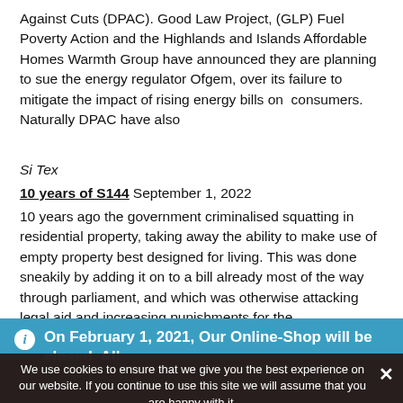Against Cuts (DPAC). Good Law Project, (GLP) Fuel Poverty Action and the Highlands and Islands Affordable Homes Warmth Group have announced they are planning to sue the energy regulator Ofgem, over its failure to mitigate the impact of rising energy bills on consumers. Naturally DPAC have also
Si Tex
10 years of S144 September 1, 2022
10 years ago the government criminalised squatting in residential property, taking away the ability to make use of empty property best designed for living. This was done sneakily by adding it on to a bill already most of the way through parliament, and which was otherwise attacking legal aid and increasing punishments for the
On February 1, 2021, Our Online-Shop will be closed. All orders until January 31 will be delivered
Dismiss
We use cookies to ensure that we give you the best experience on our website. If you continue to use this site we will assume that you are happy with it.
Ok